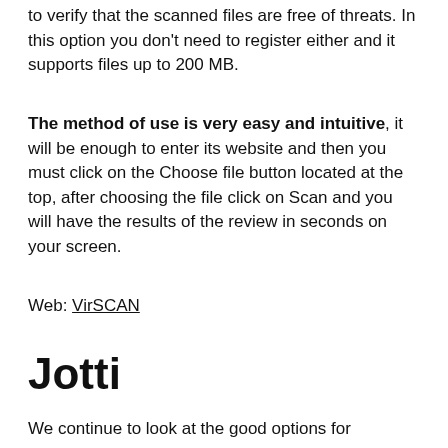to verify that the scanned files are free of threats. In this option you don't need to register either and it supports files up to 200 MB.
The method of use is very easy and intuitive, it will be enough to enter its website and then you must click on the Choose file button located at the top, after choosing the file click on Scan and you will have the results of the review in seconds on your screen.
Web: VirSCAN
Jotti
We continue to look at the good options for